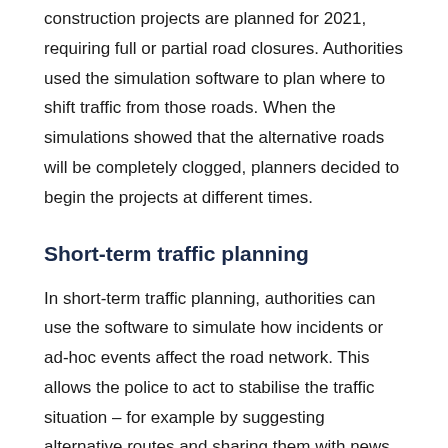construction projects are planned for 2021, requiring full or partial road closures. Authorities used the simulation software to plan where to shift traffic from those roads. When the simulations showed that the alternative roads will be completely clogged, planners decided to begin the projects at different times.
Short-term traffic planning
In short-term traffic planning, authorities can use the software to simulate how incidents or ad-hoc events affect the road network. This allows the police to act to stabilise the traffic situation – for example by suggesting alternative routes and sharing them with news outlets.